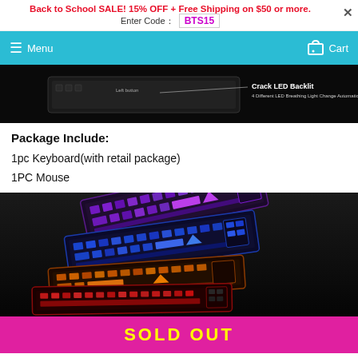Back to School SALE!  15% OFF + Free Shipping on $50 or more.
Enter Code：  BTS15
Menu  Cart
[Figure (photo): Product image showing keyboard with Crack LED Backlit text and '4 Different LED Breathing Light Change Automatically']
Package Include:
1pc Keyboard(with retail package)
1PC Mouse
[Figure (photo): Multiple gaming keyboards stacked showing different LED color variants including purple, blue, orange/yellow, and red backlit versions]
SOLD OUT